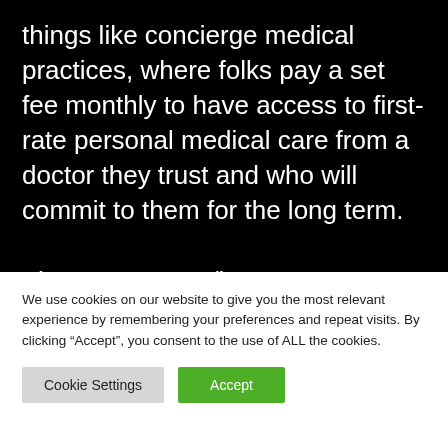things like concierge medical practices, where folks pay a set fee monthly to have access to first-rate personal medical care from a doctor they trust and who will commit to them for the long term.

The government/insurance-company/hospital-corporation cabal is teetering. It is not sustainable. Whether the feds do anything
We use cookies on our website to give you the most relevant experience by remembering your preferences and repeat visits. By clicking “Accept”, you consent to the use of ALL the cookies.